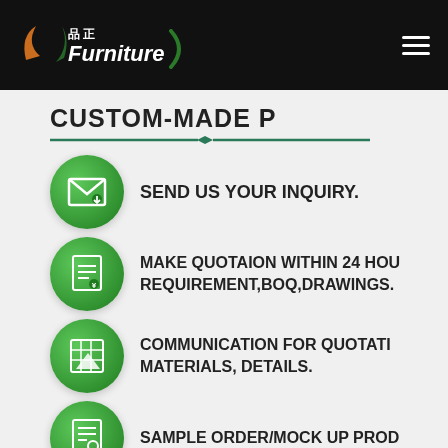品正 Furniture (logo)
CUSTOM-MADE P
SEND US YOUR INQUIRY.
MAKE QUOTAION WITHIN 24 HOU REQUIREMENT,BOQ,DRAWINGS.
COMMUNICATION FOR QUOTATI MATERIALS, DETAILS.
SAMPLE ORDER/MOCK UP PROD
PLACE MASS ORDER/PRODUC...